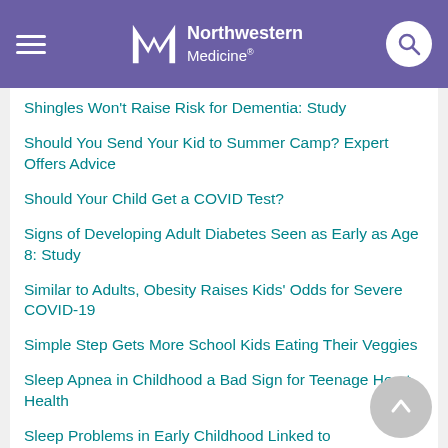Northwestern Medicine
Shingles Won't Raise Risk for Dementia: Study
Should You Send Your Kid to Summer Camp? Expert Offers Advice
Should Your Child Get a COVID Test?
Signs of Developing Adult Diabetes Seen as Early as Age 8: Study
Similar to Adults, Obesity Raises Kids' Odds for Severe COVID-19
Simple Step Gets More School Kids Eating Their Veggies
Sleep Apnea in Childhood a Bad Sign for Teenage Heart Health
Sleep Problems in Early Childhood Linked to